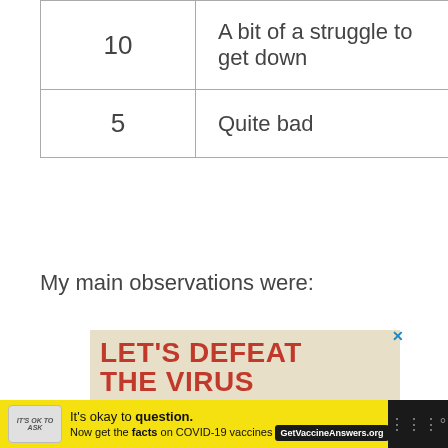| 10 | A bit of a struggle to get down |
| 5 | Quite bad |
My main observations were:
[Figure (illustration): Advertisement: 'LET'S DEFEAT THE VIRUS NOT TO MENTION CABIN FEVER' with image of person wearing a mask with colorful hair, on a tan/beige background. Close button X in top right.]
[Figure (illustration): Bottom advertisement bar on yellow background: badge icon, 'It's okay to question. Now get the facts on COVID-19 vaccines' with GetVaccineAnswers.org button. X close button. Dark bar on right with weather icon.]